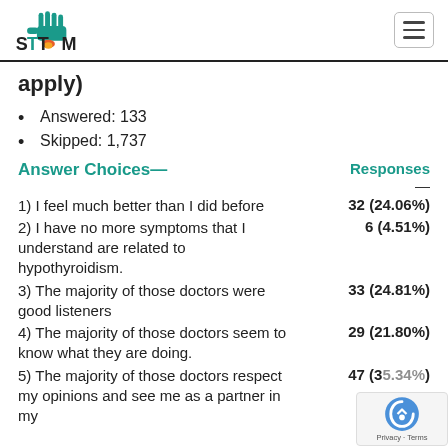STTM logo and navigation
apply)
Answered: 133
Skipped: 1,737
| Answer Choices— | Responses — |
| --- | --- |
| 1) I feel much better than I did before | 32 (24.06%) |
| 2) I have no more symptoms that I understand are related to hypothyroidism. | 6 (4.51%) |
| 3) The majority of those doctors were good listeners | 33 (24.81%) |
| 4) The majority of those doctors seem to know what they are doing. | 29 (21.80%) |
| 5) The majority of those doctors respect my opinions and see me as a partner in my | 47 (35.34%) |